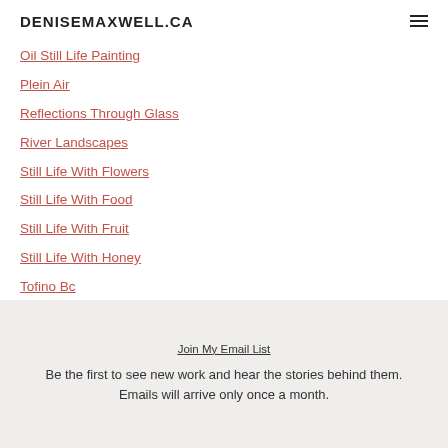DENISEMAXWELL.CA
Oil Still Life Painting
Plein Air
Reflections Through Glass
River Landscapes
Still Life With Flowers
Still Life With Food
Still Life With Fruit
Still Life With Honey
Tofino Bc
Join My Email List
Be the first to see new work and hear the stories behind them. Emails will arrive only once a month.